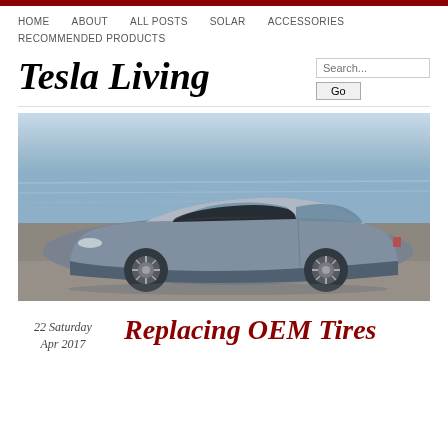HOME   ABOUT   ALL POSTS   SOLAR   ACCESSORIES   RECOMMENDED PRODUCTS
Tesla Living
[Figure (photo): Gray Tesla Model S sedan parked on a gravel area near a body of water, side profile view, sunny day.]
22 Saturday Apr 2017
Replacing OEM Tires